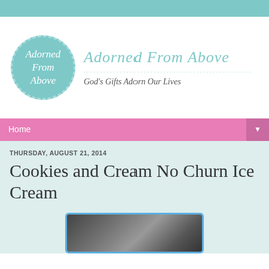[Figure (logo): Adorned From Above blog logo: teal circle with italic white text 'Adorned From Above' inside, and tagline 'God's Gifts Adorn Our Lives' to the right]
Home ▼
THURSDAY, AUGUST 21, 2014
Cookies and Cream No Churn Ice Cream
[Figure (photo): Partial photo of Cookies and Cream No Churn Ice Cream, framed with blue scalloped border]